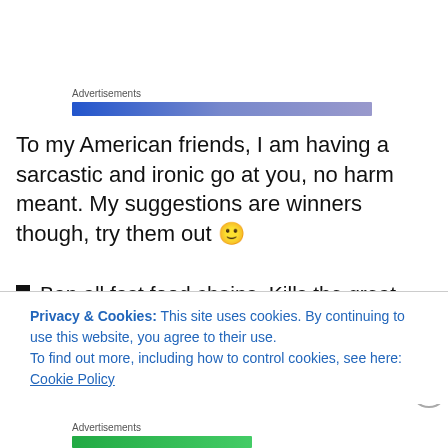[Figure (other): Advertisement banner with gradient blue bar]
To my American friends, I am having a sarcastic and ironic go at you, no harm meant. My suggestions are winners though, try them out 🙂
Ban all fast food chains. Kills the great local diners. And public health.
Ban all big chain motels. Kills local colourful motels
Privacy & Cookies: This site uses cookies. By continuing to use this website, you agree to their use. To find out more, including how to control cookies, see here: Cookie Policy
Close and accept
[Figure (other): Advertisement banner at bottom with green bar]